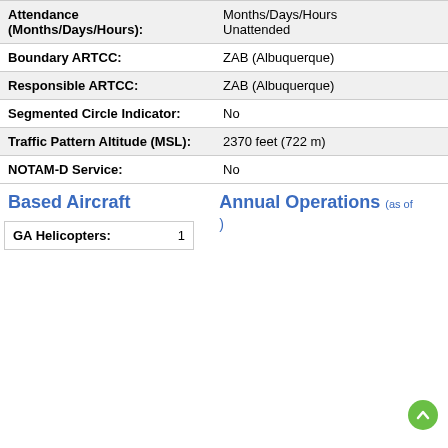| Field | Value |
| --- | --- |
| Attendance (Months/Days/Hours): | Months/Days/Hours
Unattended |
| Boundary ARTCC: | ZAB (Albuquerque) |
| Responsible ARTCC: | ZAB (Albuquerque) |
| Segmented Circle Indicator: | No |
| Traffic Pattern Altitude (MSL): | 2370 feet (722 m) |
| NOTAM-D Service: | No |
Based Aircraft
| Type | Count |
| --- | --- |
| GA Helicopters: | 1 |
Annual Operations (as of )